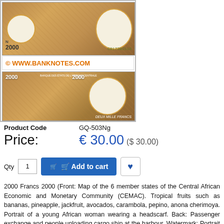[Figure (photo): Image of a 2000 Francs Central African banknote showing front and back sides, with a copyright watermark overlay reading WWW.BANKNOTES.COM]
| Product Code |  |
| --- | --- |
| Product Code | GQ-503Ng |
Price: € 30.00 ($ 30.00)
Qty 1  Add to cart
2000 Francs 2000 (Front: Map of the 6 member states of the Central African Economic and Monetary Community (CEMAC). Tropical fruits such as bananas, pineapple, jackfruit, avocados, carambola, pepino, anona cherimoya. Portrait of a young African woman wearing a headscarf. Back: Passenger exchange and people unloading cargo ship at the harbour. Watermark: Portrait of a young African woman wearing a headscarf. Security features: Two oppositely located, consecutively running, black, horizontal serial numbers on the obverse of the